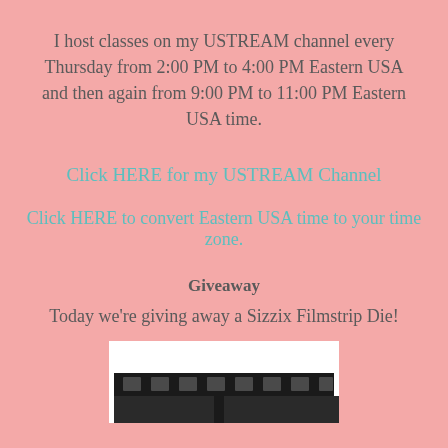I host classes on my USTREAM channel every Thursday from 2:00 PM to 4:00 PM Eastern USA and then again from 9:00 PM to 11:00 PM Eastern USA time.
Click HERE for my USTREAM Channel
Click HERE to convert Eastern USA time to your time zone.
Giveaway
Today we're giving away a Sizzix Filmstrip Die!
[Figure (photo): A Sizzix Filmstrip Die product shown as a black filmstrip die cut shape with white rectangular holes along it, on a white background.]